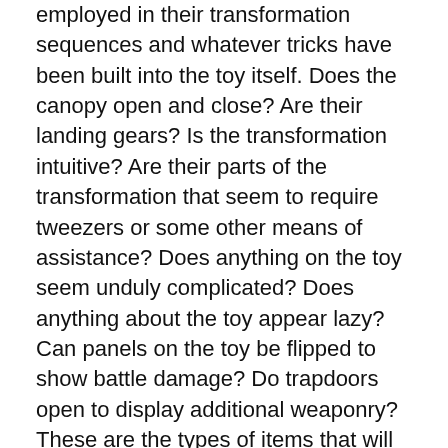employed in their transformation sequences and whatever tricks have been built into the toy itself.  Does the canopy open and close?  Are their landing gears?  Is the transformation intuitive?  Are their parts of the transformation that seem to require tweezers or some other means of assistance?  Does anything on the toy seem unduly complicated?  Does anything about the toy appear lazy?  Can panels on the toy be flipped to show battle damage?  Do trapdoors open to display additional weaponry?  These are the types of items that will score toys points in this section.
Design: 10 Possible Points
1) This isn't a toy, it's a brick.
2) This is a brick with a hole in it so a gun can be attached/removed.
3) This is a brick with a hole for the addition/removal of a gun and SOMETHING that moves, usually a head.
4) This is a non-transformable toy with five points of articulation or a transformable toy with fewer than 5